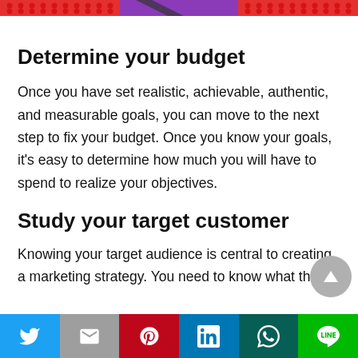[Figure (illustration): Colorful decorative banner with red dotted pattern, purple center section with dark diagonal shape, and red dotted section on right]
Determine your budget
Once you have set realistic, achievable, authentic, and measurable goals, you can move to the next step to fix your budget. Once you know your goals, it's easy to determine how much you will have to spend to realize your objectives.
Study your target customer
Knowing your target audience is central to creating a marketing strategy. You need to know what they
Social share bar: Twitter, Gmail, Pinterest, LinkedIn, WhatsApp, Line